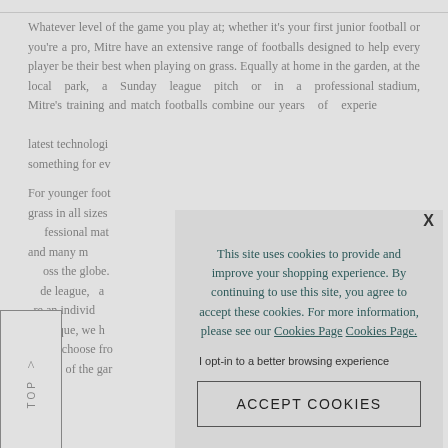Whatever level of the game you play at; whether it's your first junior football or you're a pro, Mitre have an extensive range of footballs designed to help every player be their best when playing on grass. Equally at home in the garden, at the local park, a Sunday league pitch or in a professional stadium, Mitre's training and match footballs combine our years of experience with the latest technologies... something for everyone.

For younger footballers... grass in all sizes... professional match... and many more... across the globe. ...de league, a ...re an individual technique, we h... you to choose fro... rigours of the gar...
This site uses cookies to provide and improve your shopping experience. By continuing to use this site, you agree to accept these cookies. For more information, please see our Cookies Page Cookies Page.

I opt-in to a better browsing experience

ACCEPT COOKIES